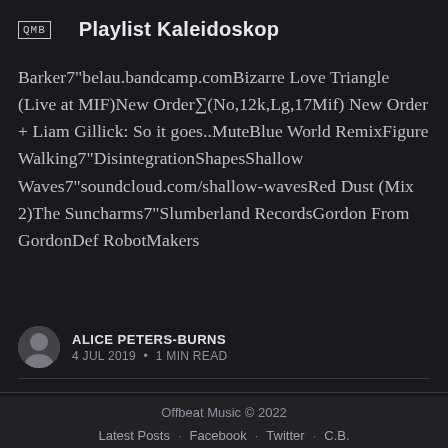QMB  Playlist Kaleidoskop
Barker7"belau.bandcamp.comBizarre Love Triangle (Live at MIF)New OrderΣ(No,12k,Lg,17Mif) New Order + Liam Gillick: So it goes..MuteBlue World RemixFigure Walking7"DisintegrationShapesShallow Waves7"soundcloud.com/shallow-wavesRed Dust (Mix 2)The Suncharms7"Slumberland RecordsGordon From GordonDef RobotMakers
ALICE PETERS-BURNS
4 JUL 2019 · 1 MIN READ
Offbeat Music © 2022
Latest Posts · Facebook · Twitter · C.B.